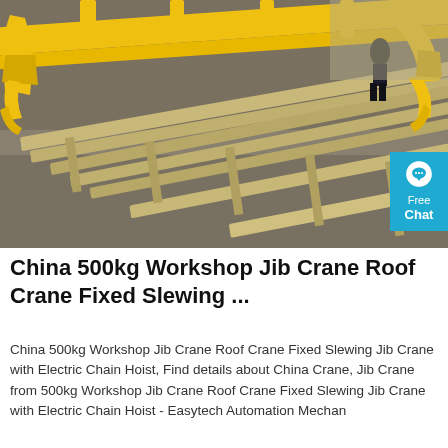[Figure (photo): Photo of a yellow industrial jib crane structure laid flat on wooden supports outdoors on a concrete/dirt surface. The crane has large yellow metal frames and mechanical arms. A person is visible in the background. A cyan 'Free Chat' badge is overlaid on the right side.]
China 500kg Workshop Jib Crane Roof Crane Fixed Slewing ...
China 500kg Workshop Jib Crane Roof Crane Fixed Slewing Jib Crane with Electric Chain Hoist, Find details about China Crane, Jib Crane from 500kg Workshop Jib Crane Roof Crane Fixed Slewing Jib Crane with Electric Chain Hoist - Easytech Automation Mechan